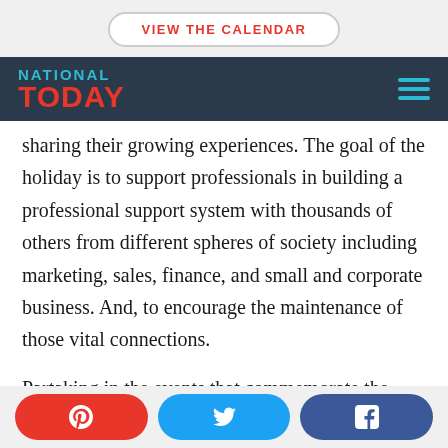VIEW THE CALENDAR
[Figure (logo): National Today logo with navigation bar on dark blue background]
sharing their growing experiences. The goal of the holiday is to support professionals in building a professional support system with thousands of others from different spheres of society including marketing, sales, finance, and small and corporate business. And, to encourage the maintenance of those vital connections.
Partaking in the events that commemorate the
Pinterest share button, Twitter share button, Facebook share button